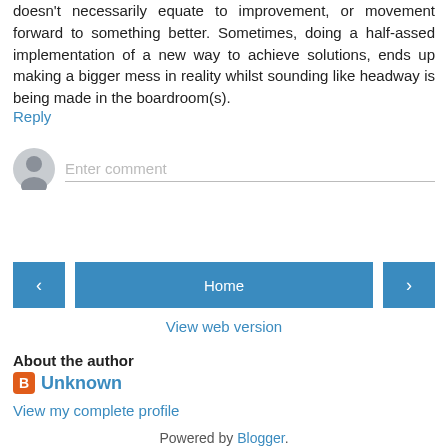doesn't necessarily equate to improvement, or movement forward to something better. Sometimes, doing a half-assed implementation of a new way to achieve solutions, ends up making a bigger mess in reality whilst sounding like headway is being made in the boardroom(s).
Reply
[Figure (other): Comment input area with user avatar (grey silhouette circle) and text field placeholder 'Enter comment']
[Figure (other): Navigation buttons: left arrow button, Home button (center), right arrow button]
View web version
About the author
Unknown
View my complete profile
Powered by Blogger.